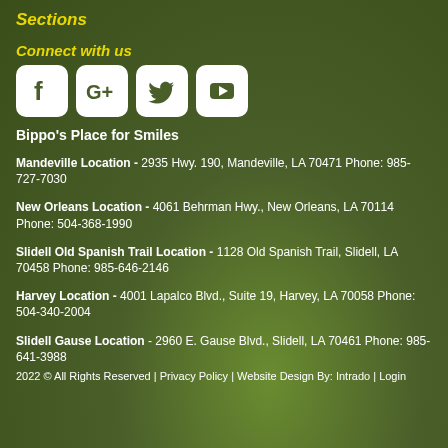Sections
Connect with us
[Figure (illustration): Social media icons: Facebook, Google+, Twitter, YouTube]
Bippo's Place for Smiles
Mandeville Location - 2935 Hwy. 190, Mandeville, LA 70471 Phone: 985-727-7030
New Orleans Location - 4061 Behrman Hwy., New Orleans, LA 70114 Phone: 504-368-1990
Slidell Old Spanish Trail Location - 1128 Old Spanish Trail, Slidell, LA 70458 Phone: 985-646-2146
Harvey Location - 4001 Lapalco Blvd., Suite 19, Harvey, LA 70058 Phone: 504-340-2004
Slidell Gause Location - 2960 E. Gause Blvd., Slidell, LA 70461 Phone: 985-641-3988
2022 © All Rights Reserved | Privacy Policy | Website Design By: Intrado | Login